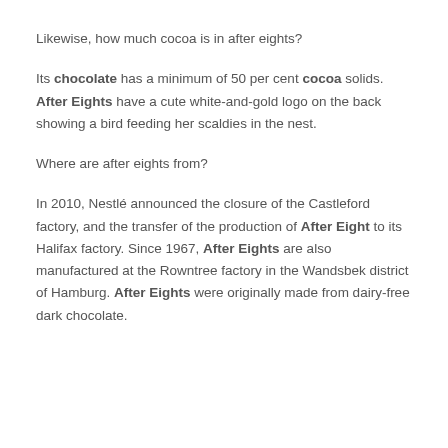Likewise, how much cocoa is in after eights?
Its chocolate has a minimum of 50 per cent cocoa solids. After Eights have a cute white-and-gold logo on the back showing a bird feeding her scaldies in the nest.
Where are after eights from?
In 2010, Nestlé announced the closure of the Castleford factory, and the transfer of the production of After Eight to its Halifax factory. Since 1967, After Eights are also manufactured at the Rowntree factory in the Wandsbek district of Hamburg. After Eights were originally made from dairy-free dark chocolate.